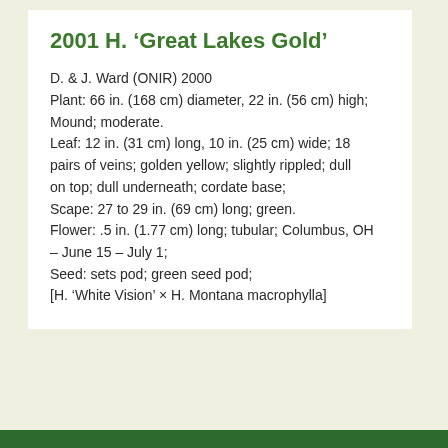2001 H. 'Great Lakes Gold'
D. & J. Ward (ONIR) 2000
Plant: 66 in. (168 cm) diameter, 22 in. (56 cm) high; Mound; moderate.
Leaf: 12 in. (31 cm) long, 10 in. (25 cm) wide; 18 pairs of veins; golden yellow; slightly rippled; dull on top; dull underneath; cordate base;
Scape: 27 to 29 in. (69 cm) long; green.
Flower: .5 in. (1.77 cm) long; tubular; Columbus, OH – June 15 – July 1;
Seed: sets pod; green seed pod;
[H. 'White Vision' × H. Montana macrophylla]